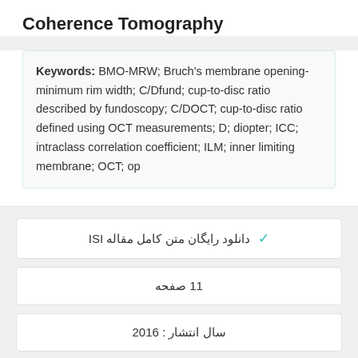Coherence Tomography
Keywords: BMO-MRW; Bruch's membrane opening-minimum rim width; C/Dfund; cup-to-disc ratio described by fundoscopy; C/DOCT; cup-to-disc ratio defined using OCT measurements; D; diopter; ICC; intraclass correlation coefficient; ILM; inner limiting membrane; OCT; op
✓ دانلود رایگان متن کامل مقاله ISI
11 صفحه
سال انتشار : 2016
✓ سفارش ترجمه